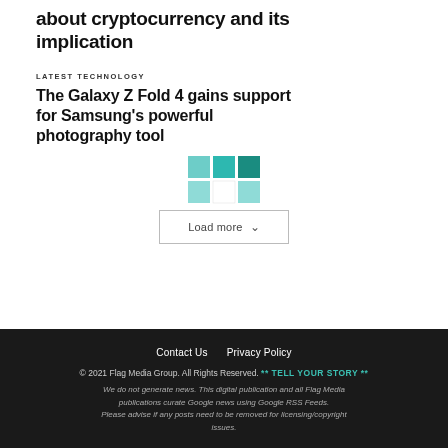about cryptocurrency and its implication
LATEST TECHNOLOGY
The Galaxy Z Fold 4 gains support for Samsung's powerful photography tool
[Figure (logo): Teal/green grid logo with 2 rows of 3 squares, top row solid teal shades, bottom row lighter teal with white center]
Load more
Contact Us   Privacy Policy
© 2021 Flag Media Group. All Rights Reserved. ** TELL YOUR STORY **
We do not generate news. This digital publication and all Flag Media publications curate Google news using Google RSS Feeds.
Please advise if any posts need to be removed for licensing/copyright issues.